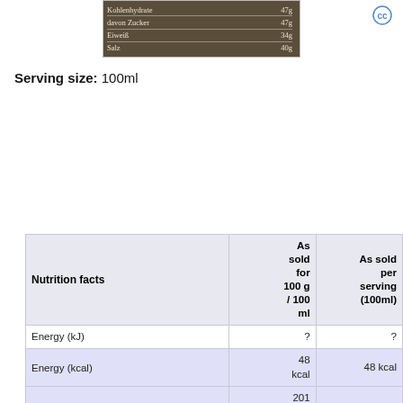[Figure (photo): Photo of a nutrition label in German showing Kohlenhydrate, davon Zucker, Eiweiß, Salz rows with values]
Serving size: 100ml
| Nutrition facts | As sold for 100 g / 100 ml | As sold per serving (100ml) |
| --- | --- | --- |
| Energy (kJ) | ? | ? |
| Energy (kcal) | 48 kcal | 48 kcal |
| Energy | 201 kj (48 kcal) | 201 kj (48 kcal) |
| Fat | 1.8 g | 1.8 g |